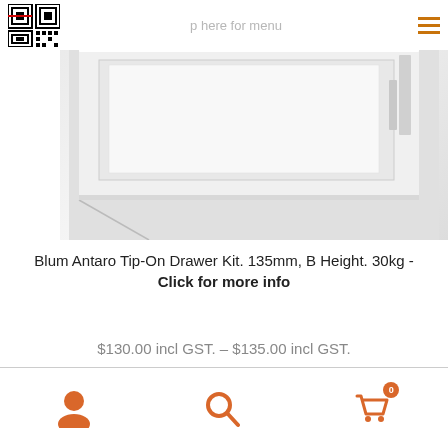[Figure (photo): Product photo of Blum Antaro drawer kit showing white metal drawer slides and components against light grey background]
Blum Antaro Tip-On Drawer Kit. 135mm, B Height. 30kg - Click for more info
$130.00 incl GST. – $135.00 incl GST.
Select options